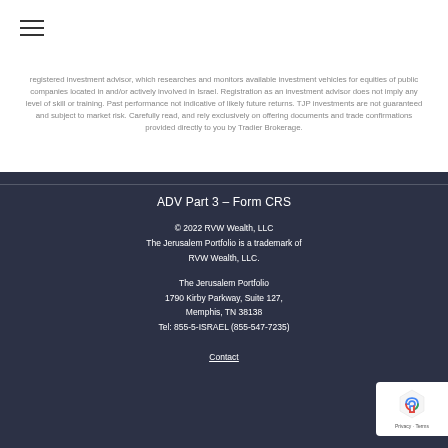≡ (hamburger menu icon)
registered investment advisor, which researches and monitors available investment vehicles for equities of public companies located in and/or actively involved in Israel. Registration as an investment advisor does not imply any level of skill or training. Past performance not indicative of likely future returns. TJP investments are not guaranteed and subject to market risk. Carefully read, and rely exclusively on offering documents and trade confirmations provided directly to you by Tradier Brokerage.
ADV Part 3 – Form CRS
© 2022 RVW Wealth, LLC
The Jerusalem Portfolio is a trademark of RVW Wealth, LLC.
The Jerusalem Portfolio
1790 Kirby Parkway, Suite 127,
Memphis, TN 38138
Tel: 855-5-ISRAEL (855-547-7235)
Contact